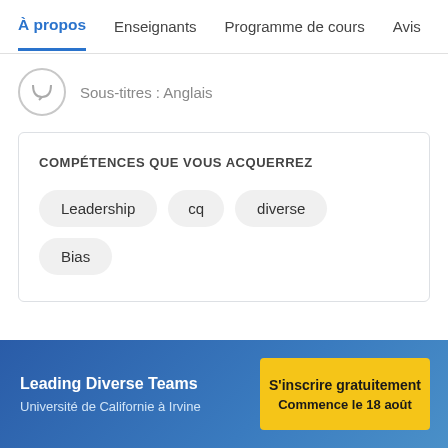À propos  Enseignants  Programme de cours  Avis  Op
Sous-titres : Anglais
COMPÉTENCES QUE VOUS ACQUERREZ
Leadership
cq
diverse
Bias
Leading Diverse Teams
Université de Californie à Irvine
S'inscrire gratuitement
Commence le 18 août